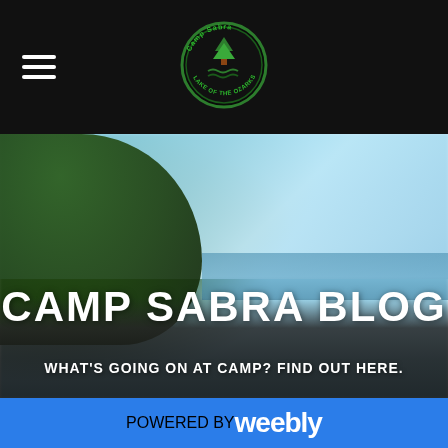[Figure (logo): Camp Sabra circular logo with green tree/mountain design and text 'Camp Sabra Lake of the Ozarks']
[Figure (photo): Blurred outdoor photo showing trees on left, blue sky with clouds, water/lake in background, crowd of people at bottom. Overlaid with text 'CAMP SABRA BLOG' and subtitle 'WHAT'S GOING ON AT CAMP? FIND OUT HERE.']
CAMP SABRA BLOG
WHAT'S GOING ON AT CAMP? FIND OUT HERE.
POWERED BY weebly